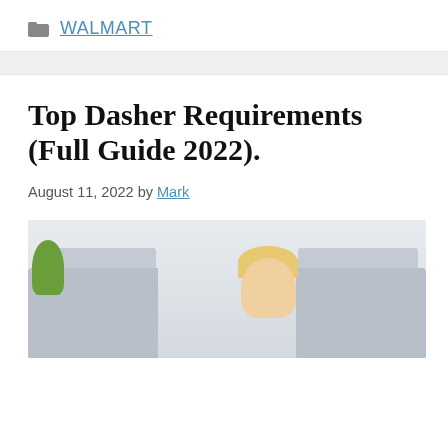WALMART
Top Dasher Requirements (Full Guide 2022).
August 11, 2022 by Mark
[Figure (photo): A blonde woman sitting on a grey sofa, visible from the shoulders up, with a green plant to the left. Indoor setting with light background.]